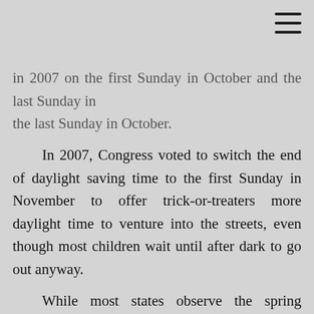...in 2007 on the first Sunday in October and the last Sunday in the last Sunday in October.
In 2007, Congress voted to switch the end of daylight saving time to the first Sunday in November to offer trick-or-treaters more daylight time to venture into the streets, even though most children wait until after dark to go out anyway.
While most states observe the spring forward / fall back switch in time, Hawaii, American Samoa, Guam, Puerto Rico, the Virgin Islands, the Commonwealth of Northern Mariana Islands and Arizona do not change the clock.
However, the Navajo Nation in Arizona does participate in daylight saving time and will roll the clock back Sunday. The Hopi Reservation, entirely surrounded